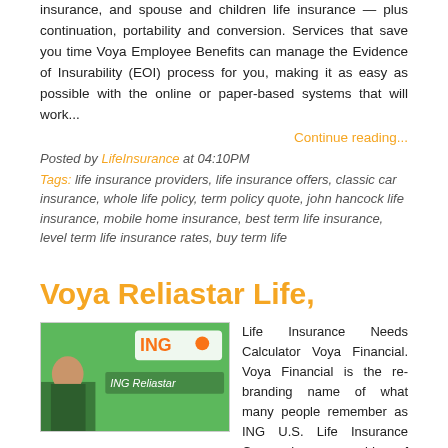insurance, and spouse and children life insurance — plus continuation, portability and conversion. Services that save you time Voya Employee Benefits can manage the Evidence of Insurability (EOI) process for you, making it as easy as possible with the online or paper-based systems that will work...
Continue reading...
Posted by LifeInsurance at 04:10PM
Tags: life insurance providers, life insurance offers, classic car insurance, whole life policy, term policy quote, john hancock life insurance, mobile home insurance, best term life insurance, level term life insurance rates, buy term life
Voya Reliastar Life,
[Figure (photo): ING Reliastar logo image with green background and a person visible on the left side]
Life Insurance Needs Calculator Voya Financial. Voya Financial is the re-branding name of what many people remember as ING U.S. Life Insurance Companies, a provider of retirement, investment, and insurance products in